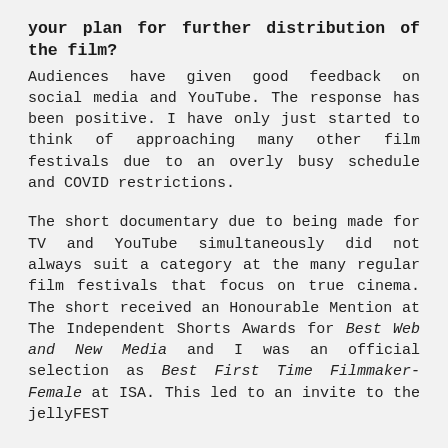your plan for further distribution of the film?
Audiences have given good feedback on social media and YouTube. The response has been positive. I have only just started to think of approaching many other film festivals due to an overly busy schedule and COVID restrictions.
The short documentary due to being made for TV and YouTube simultaneously did not always suit a category at the many regular film festivals that focus on true cinema. The short received an Honourable Mention at The Independent Shorts Awards for Best Web and New Media and I was an official selection as Best First Time Filmmaker-Female at ISA. This led to an invite to the jellyFEST